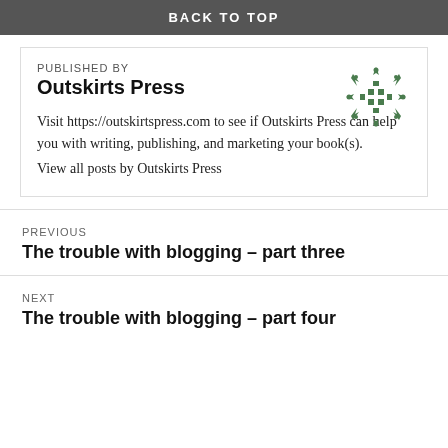BACK TO TOP
PUBLISHED BY
Outskirts Press
[Figure (logo): Outskirts Press green decorative logo/icon with a grid and diamond pattern]
Visit https://outskirtspress.com to see if Outskirts Press can help you with writing, publishing, and marketing your book(s).
View all posts by Outskirts Press
PREVIOUS
The trouble with blogging – part three
NEXT
The trouble with blogging – part four